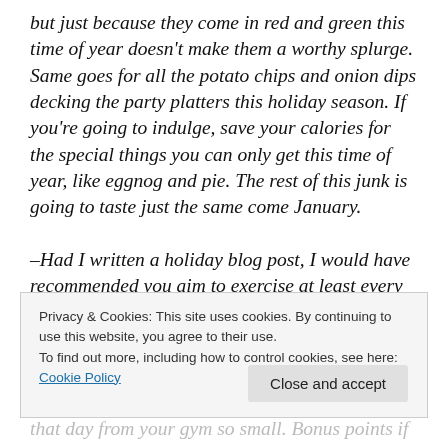but just because they come in red and green this time of year doesn't make them a worthy splurge. Same goes for all the potato chips and onion dips decking the party platters this holiday season. If you're going to indulge, save your calories for the special things you can only get this time of year, like eggnog and pie. The rest of this junk is going to taste just the same come January.
–Had I written a holiday blog post, I would have recommended you aim to exercise at least every other day, even if it's not as long or thorough as your usual non-
Privacy & Cookies: This site uses cookies. By continuing to use this website, you agree to their use.
To find out more, including how to control cookies, see here: Cookie Policy
that day from your gym so small. Bonus points if you can